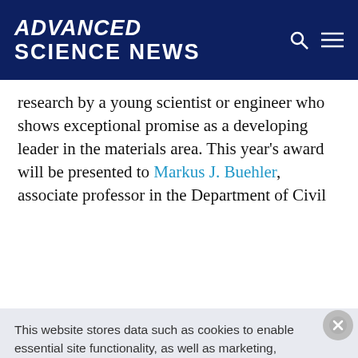ADVANCED SCIENCE NEWS
research by a young scientist or engineer who shows exceptional promise as a developing leader in the materials area. This year's award will be presented to Markus J. Buehler, associate professor in the Department of Civil
This website stores data such as cookies to enable essential site functionality, as well as marketing, personalization, and analytics. You may change your settings at any time or accept the default settings. You may close this banner to continue with only essential cookies. Privacy Policy
Manage Preferences
Accept All
Reject All